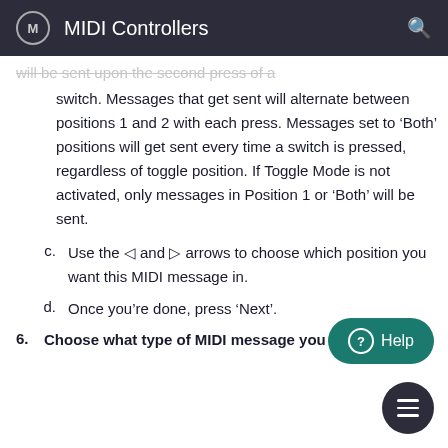MIDI Controllers
will be sent upon the second press of a switch. Messages that get sent will alternate between positions 1 and 2 with each press. Messages set to ‘Both’ positions will get sent every time a switch is pressed, regardless of toggle position. If Toggle Mode is not activated, only messages in Position 1 or ‘Both’ will be sent.
c. Use the ◁ and ▷ arrows to choose which position you want this MIDI message in.
d. Once you’re done, press ‘Next’.
6. Choose what type of MIDI message you want